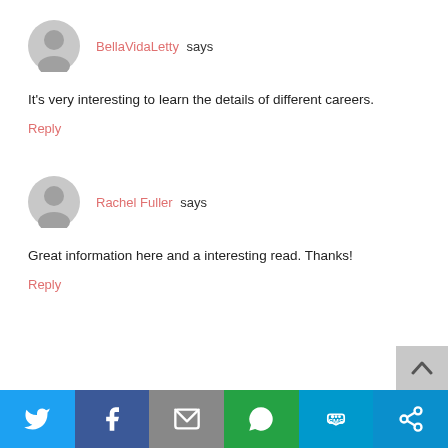BellaVidaLetty says
It's very interesting to learn the details of different careers.
Reply
Rachel Fuller says
Great information here and a interesting read. Thanks!
Reply
[Figure (infographic): Social sharing bar with icons: Twitter (blue), Facebook (dark blue), Email (grey), WhatsApp (green), SMS (light blue), Share/More (blue)]